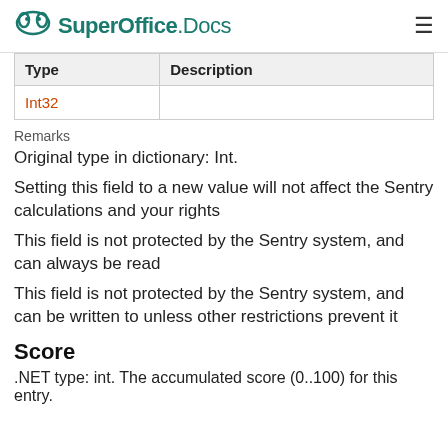SuperOffice.Docs
| Type | Description |
| --- | --- |
| Int32 |  |
Remarks
Original type in dictionary: Int.
Setting this field to a new value will not affect the Sentry calculations and your rights
This field is not protected by the Sentry system, and can always be read
This field is not protected by the Sentry system, and can be written to unless other restrictions prevent it
Score
.NET type: int. The accumulated score (0..100) for this entry.